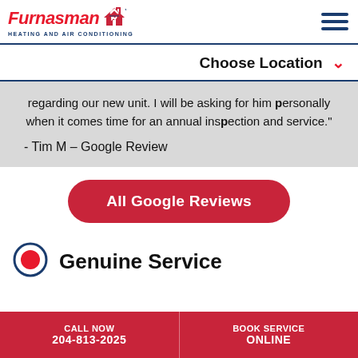[Figure (logo): Furnasman Heating and Air Conditioning logo with red house icon]
Choose Location ∨
regarding our new unit. I will be asking for him personally when it comes time for an annual inspection and service."
- Tim M  – Google Review
All Google Reviews
Genuine Service
CALL NOW 204-813-2025 | BOOK SERVICE ONLINE